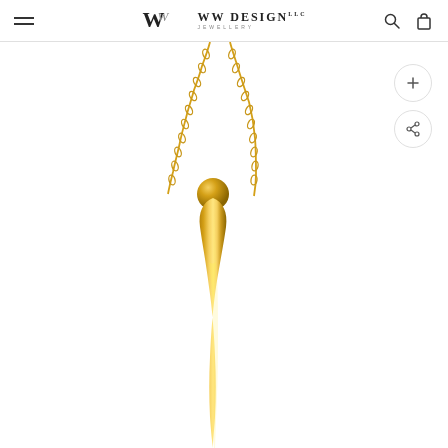WW DESIGN LLC JEWELLERY — navigation header with hamburger menu, logo, search and cart icons
[Figure (photo): Product photo of a gold elongated teardrop/spike pendant necklace on a gold cable chain, shown against a white background. The pendant is a long, twisted gold bar with a rounded top and tapered bottom, with a polished reflective finish.]